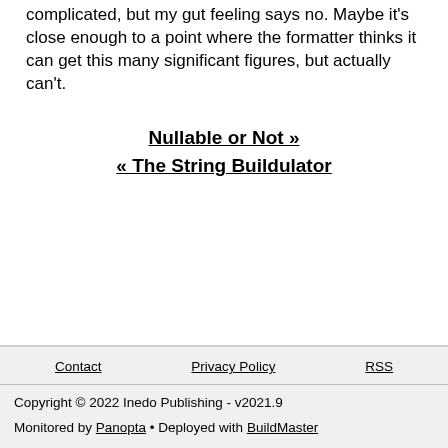complicated, but my gut feeling says no. Maybe it's close enough to a point where the formatter thinks it can get this many significant figures, but actually can't.
Nullable or Not »
« The String Buildulator
Contact   Privacy Policy   RSS
Copyright © 2022 Inedo Publishing - v2021.9
Monitored by Panopta • Deployed with BuildMaster